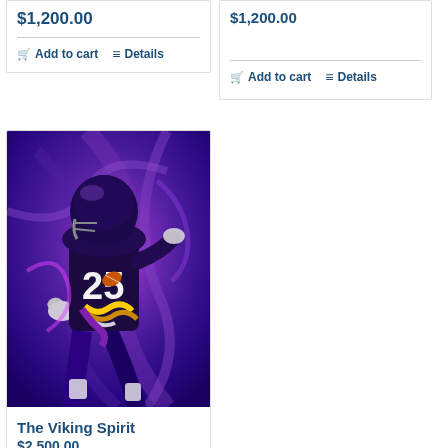$1,200.00
Add to cart
Details
$1,200.00 (partial, right card)
Add to cart
Details
[Figure (illustration): Colorful painting of a Minnesota Vikings football player wearing jersey number 25, in a dynamic running pose, with a swirling purple and blue abstract background]
The Viking Spirit
$2,500.00